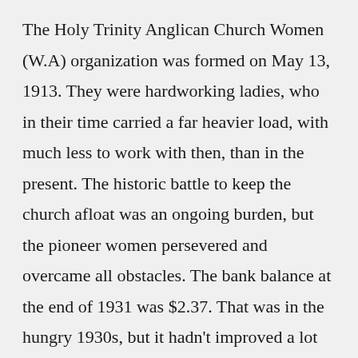The Holy Trinity Anglican Church Women (W.A) organization was formed on May 13, 1913. They were hardworking ladies, who in their time carried a far heavier load, with much less to work with then, than in the present. The historic battle to keep the church afloat was an ongoing burden, but the pioneer women persevered and overcame all obstacles. The bank balance at the end of 1931 was $2.37. That was in the hungry 1930s, but it hadn't improved a lot by 1961 when the balance in the bank was a meagre 79 cents.